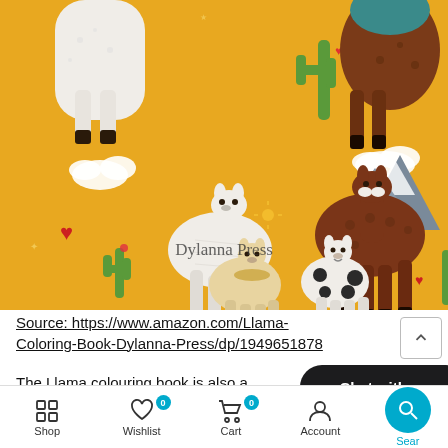[Figure (illustration): Illustration of multiple llamas and alpacas on a golden-yellow background with cacti, clouds, hearts, stars, and mountains. Watermark text 'Dylanna Press' in center. Various colored llamas: white, brown, tan, spotted. Cartoon/doodle style.]
Source: https://www.amazon.com/Llama-Coloring-Book-Dylanna-Press/dp/1949651878
The Llama colouring book is also a ... r
Shop  Wishlist  Cart  Account  Sear